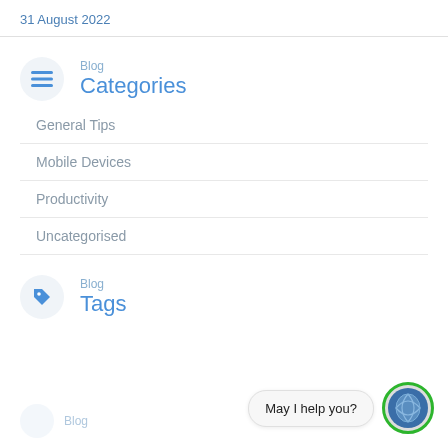31 August 2022
Blog
Categories
General Tips
Mobile Devices
Productivity
Uncategorised
Blog
Tags
May I help you?
Blog